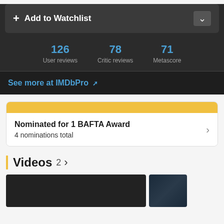+ Add to Watchlist
126 User reviews
78 Critic reviews
71 Metascore
See more at IMDbPro ↗
Nominated for 1 BAFTA Award
4 nominations total
Videos 2 >
[Figure (screenshot): Video thumbnail showing a dark scene with faces]